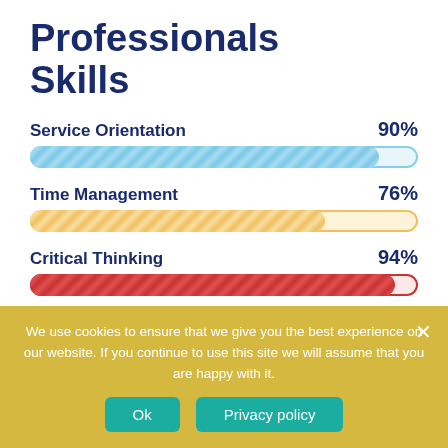Professionals Skills
[Figure (bar-chart): Professionals Skills]
We use cookies to ensure that we give you the best experience on our website. If you continue to use this site we will assume that you are happy with it.
Ok
Privacy policy